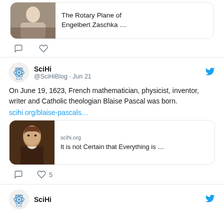[Figure (screenshot): Top of page showing a tweet link card with a person's photo and title 'The Rotary Plane of Engelbert Zaschka ...' with comment and heart icons below]
SciHi @SciHiBlog · Jun 21
On June 19, 1623, French mathematician, physicist, inventor, writer and Catholic theologian Blaise Pascal was born.
scihi.org/blaise-pascals…
[Figure (screenshot): Link card with portrait of Blaise Pascal, site 'scihi.org', title 'It is not Certain that Everything is ...']
5 (likes)
SciHi (next tweet header, partially visible)